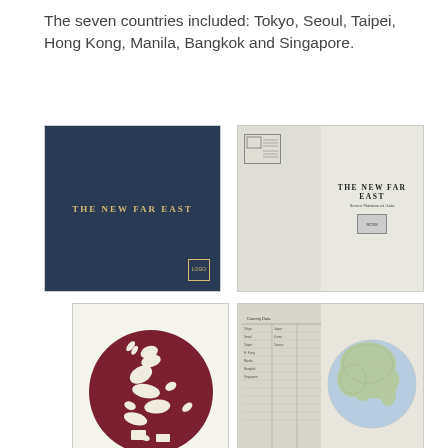The seven countries included: Tokyo, Seoul, Taipei, Hong Kong, Manila, Bangkok and Singapore.
[Figure (photo): Dark navy blue book cover with gold text reading 'THE NEW FAR EAST' and a small logo in the bottom right corner.]
[Figure (photo): Open book showing title page with 'THE NEW FAR EAST' and subtitle 'Seven Nations of Asia', with a library stamp on the left page.]
[Figure (photo): Circular dragon medallion/emblem in dark maroon/burgundy with a white dragon design on it.]
[Figure (photo): Open book showing a data/statistics page on the left and a circular map of Asia on the right page.]